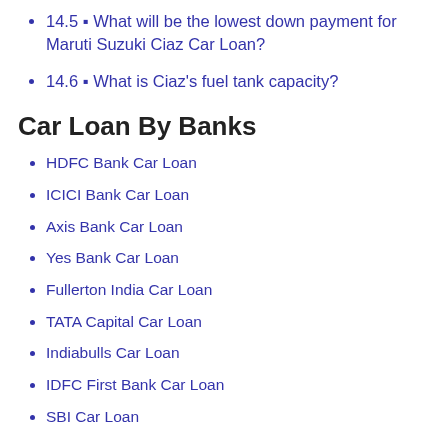14.5 – What will be the lowest down payment for Maruti Suzuki Ciaz Car Loan?
14.6 – What is Ciaz's fuel tank capacity?
Car Loan By Banks
HDFC Bank Car Loan
ICICI Bank Car Loan
Axis Bank Car Loan
Yes Bank Car Loan
Fullerton India Car Loan
TATA Capital Car Loan
Indiabulls Car Loan
IDFC First Bank Car Loan
SBI Car Loan